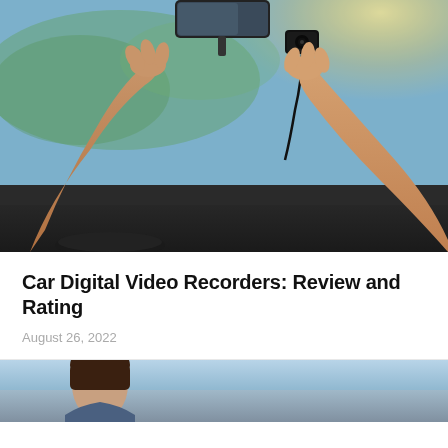[Figure (photo): Person's hands installing or adjusting a dash cam on a car windshield. Interior car view, rear-view mirror visible, sunlight through windshield, green trees outside.]
Car Digital Video Recorders: Review and Rating
August 26, 2022
[Figure (photo): Partial view of a person driving a car, bottom portion of image visible.]